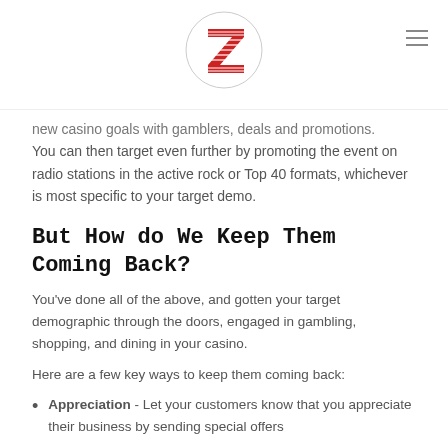Zinmax Marketing logo and navigation
new casino goals with gamblers, deals and promotions. You can then target even further by promoting the event on radio stations in the active rock or Top 40 formats, whichever is most specific to your target demo.
But How do We Keep Them Coming Back?
You've done all of the above, and gotten your target demographic through the doors, engaged in gambling, shopping, and dining in your casino.
Here are a few key ways to keep them coming back:
Appreciation - Let your customers know that you appreciate their business by sending special offers